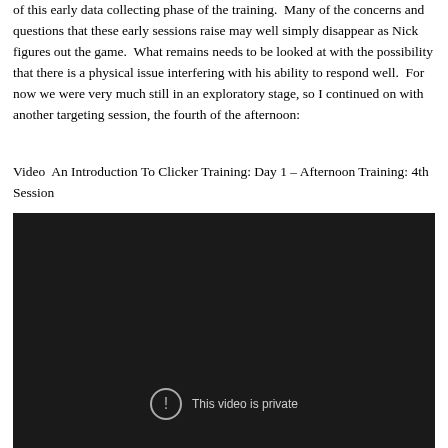of this early data collecting phase of the training.  Many of the concerns and questions that these early sessions raise may well simply disappear as Nick figures out the game.  What remains needs to be looked at with the possibility that there is a physical issue interfering with his ability to respond well.  For now we were very much still in an exploratory stage, so I continued on with another targeting session, the fourth of the afternoon:
Video  An Introduction To Clicker Training: Day 1 – Afternoon Training: 4th Session
[Figure (screenshot): Embedded video player with dark background showing 'This video is private' message with an exclamation mark circle icon]